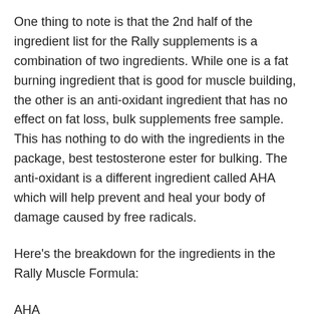One thing to note is that the 2nd half of the ingredient list for the Rally supplements is a combination of two ingredients. While one is a fat burning ingredient that is good for muscle building, the other is an anti-oxidant ingredient that has no effect on fat loss, bulk supplements free sample. This has nothing to do with the ingredients in the package, best testosterone ester for bulking. The anti-oxidant is a different ingredient called AHA which will help prevent and heal your body of damage caused by free radicals.
Here's the breakdown for the ingredients in the Rally Muscle Formula:
AHA
Potassium Chloride
Potassium Sorbate